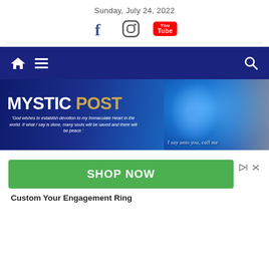Sunday, July 24, 2022
[Figure (other): Social media icons: Facebook, Instagram, YouTube]
[Figure (other): Mystic Post website banner with navigation bar (home icon, hamburger menu, search icon) and logo banner reading MYSTIC POST with quote: 'God wishes to establish devotion to my Immaculate Heart in the world. If what I say is done, many souls will be saved and there will be peace.' with an image of a religious figure and text 'I say unto you, call me']
[Figure (other): Green SHOP NOW advertisement button]
Custom Your Engagement Ring